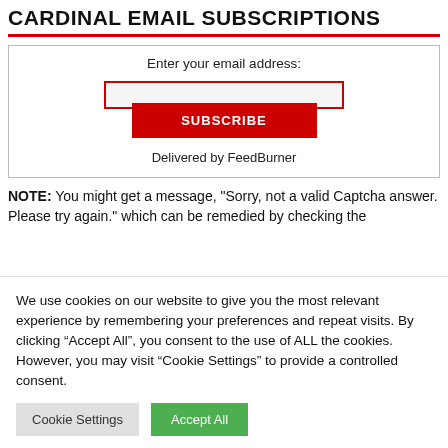CARDINAL EMAIL SUBSCRIPTIONS
[Figure (screenshot): Email subscription form with a text input field bordered in red, a red SUBSCRIBE button, and 'Delivered by FeedBurner' text below.]
NOTE: You might get a message, "Sorry, not a valid Captcha answer. Please try again." which can be remedied by checking the
We use cookies on our website to give you the most relevant experience by remembering your preferences and repeat visits. By clicking “Accept All”, you consent to the use of ALL the cookies. However, you may visit “Cookie Settings” to provide a controlled consent.